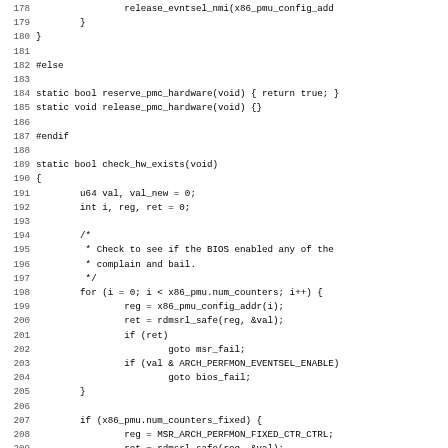Source code listing lines 178-210, C kernel code for check_hw_exists function and surrounding preprocessor directives